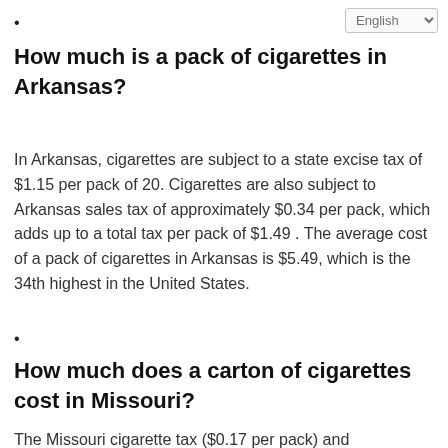•
How much is a pack of cigarettes in Arkansas?
In Arkansas, cigarettes are subject to a state excise tax of $1.15 per pack of 20. Cigarettes are also subject to Arkansas sales tax of approximately $0.34 per pack, which adds up to a total tax per pack of $1.49 . The average cost of a pack of cigarettes in Arkansas is $5.49, which is the 34th highest in the United States.
•
How much does a carton of cigarettes cost in Missouri?
The Missouri cigarette tax ($0.17 per pack) and...